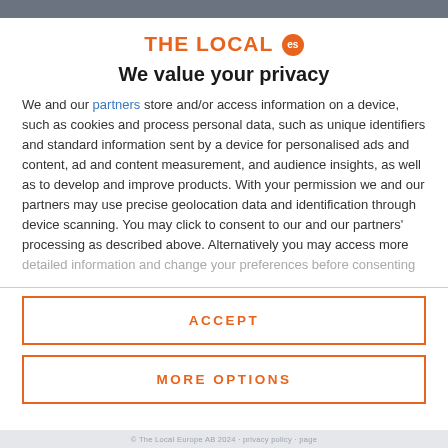[Figure (logo): THE LOCAL es logo in orange with 'es' in a circular badge]
We value your privacy
We and our partners store and/or access information on a device, such as cookies and process personal data, such as unique identifiers and standard information sent by a device for personalised ads and content, ad and content measurement, and audience insights, as well as to develop and improve products. With your permission we and our partners may use precise geolocation data and identification through device scanning. You may click to consent to our and our partners' processing as described above. Alternatively you may access more detailed information and change your preferences before consenting
ACCEPT
MORE OPTIONS